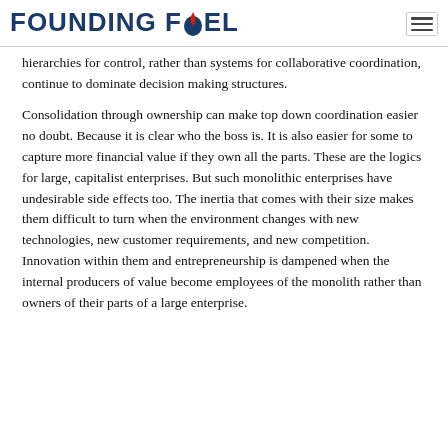FOUNDING FUEL
hierarchies for control, rather than systems for collaborative coordination, continue to dominate decision making structures.
Consolidation through ownership can make top down coordination easier no doubt. Because it is clear who the boss is. It is also easier for some to capture more financial value if they own all the parts. These are the logics for large, capitalist enterprises. But such monolithic enterprises have undesirable side effects too. The inertia that comes with their size makes them difficult to turn when the environment changes with new technologies, new customer requirements, and new competition. Innovation within them and entrepreneurship is dampened when the internal producers of value become employees of the monolith rather than owners of their parts of a large enterprise.